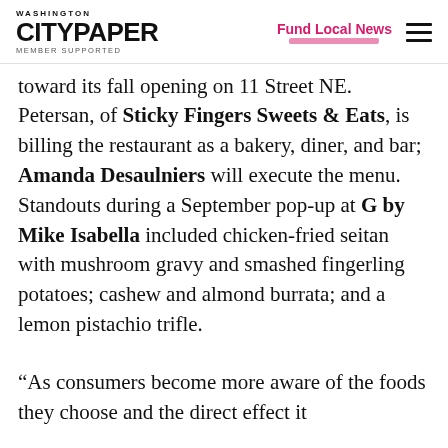WASHINGTON CITYPAPER MEMBER SUPPORTED | Fund Local News
toward its fall opening on 11 Street NE. Petersan, of Sticky Fingers Sweets & Eats, is billing the restaurant as a bakery, diner, and bar; Amanda Desaulniers will execute the menu. Standouts during a September pop-up at G by Mike Isabella included chicken-fried seitan with mushroom gravy and smashed fingerling potatoes; cashew and almond burrata; and a lemon pistachio trifle.
“As consumers become more aware of the foods they choose and the direct effect it